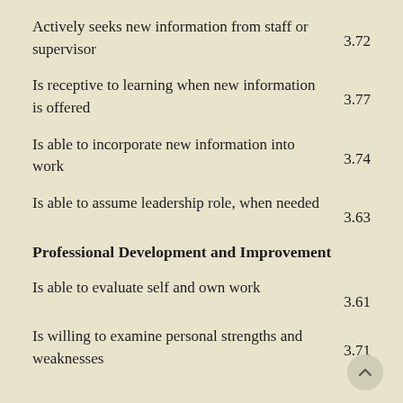Actively seeks new information from staff or supervisor
Is receptive to learning when new information is offered
Is able to incorporate new information into work
Is able to assume leadership role, when needed
Professional Development and Improvement
Is able to evaluate self and own work
Is willing to examine personal strengths and weaknesses